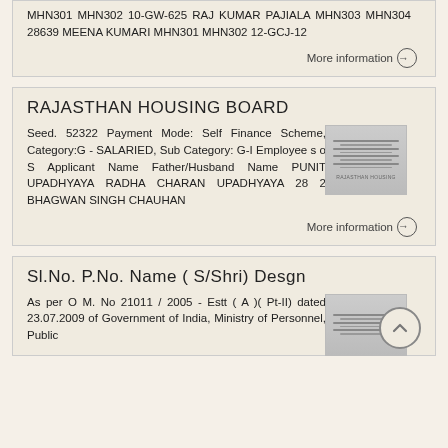MHN301 MHN302 10-GW-625 RAJ KUMAR PAJIALA MHN303 MHN304 28639 MEENA KUMARI MHN301 MHN302 12-GCJ-12
More information →
RAJASTHAN HOUSING BOARD
Seed. 52322 Payment Mode: Self Finance Scheme, Category:G - SALARIED, Sub Category: G-I Employee s o S Applicant Name Father/Husband Name PUNIT UPADHYAYA RADHA CHARAN UPADHYAYA 28 2 BHAGWAN SINGH CHAUHAN
More information →
Sl.No. P.No. Name ( S/Shri) Desgn
As per O M. No 21011 / 2005 - Estt ( A )( Pt-II) dated 23.07.2009 of Government of India, Ministry of Personnel, Public